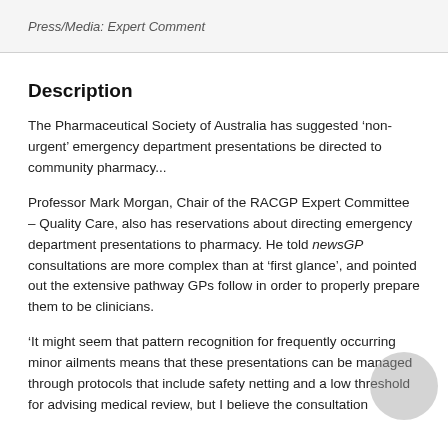Press/Media: Expert Comment
Description
The Pharmaceutical Society of Australia has suggested ‘non-urgent’ emergency department presentations be directed to community pharmacy...
Professor Mark Morgan, Chair of the RACGP Expert Committee – Quality Care, also has reservations about directing emergency department presentations to pharmacy. He told newsGP consultations are more complex than at ‘first glance’, and pointed out the extensive pathway GPs follow in order to properly prepare them to be clinicians.
‘It might seem that pattern recognition for frequently occurring minor ailments means that these presentations can be managed through protocols that include safety netting and a low threshold for advising medical review, but I believe the consultation...